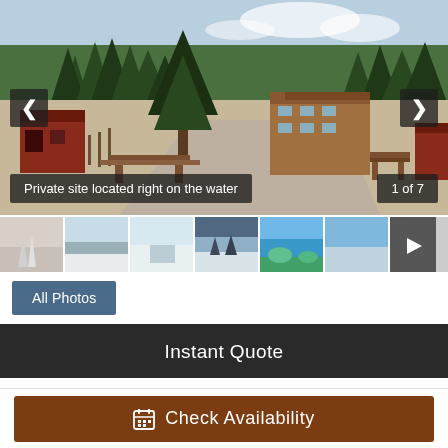[Figure (photo): Main campsite photo: private site area with picnic tables, gravel road, red cabin/building on left, large multi-story lodge in background right, conifer trees in background, mountain valley setting. Navigation arrows left and right. Caption overlay: 'Private site located right on the water'. Counter overlay: '1 of 7'.]
[Figure (photo): Thumbnail strip of 6 smaller campsite/landscape photos with a play button on the rightmost thumbnail.]
All Photos
Instant Quote
Check Availability